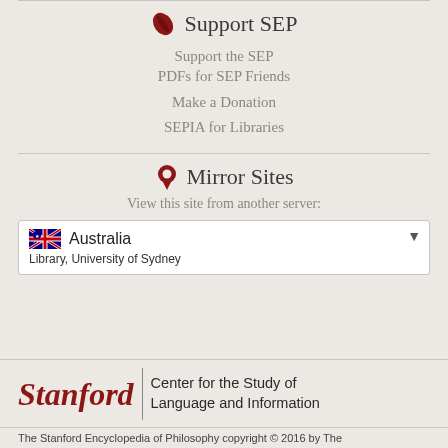Support SEP
Support the SEP
PDFs for SEP Friends
Make a Donation
SEPIA for Libraries
Mirror Sites
View this site from another server:
Australia
Library, University of Sydney
[Figure (logo): Stanford | Center for the Study of Language and Information logo]
The Stanford Encyclopedia of Philosophy copyright © 2016 by The